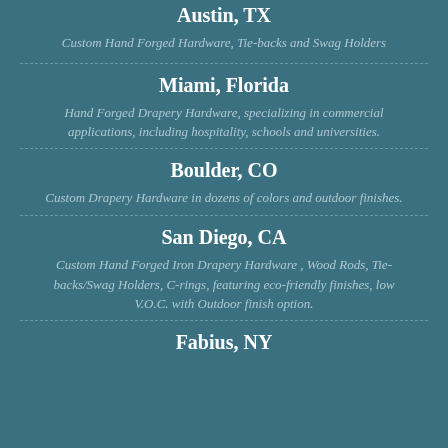Austin, TX
Custom Hand Forged Hardware, Tie-backs and Swag Holders
Miami, Florida
Hand Forged Drapery Hardware, specializing in commercial applications, including hospitality, schools and universities.
Boulder, CO
Custom Drapery Hardware in dozens of colors and outdoor finishes.
San Diego, CA
Custom Hand Forged Iron Drapery Hardware , Wood Rods, Tie-backs/Swag Holders, C-rings, featuring eco-friendly finishes, low V.O.C. with Outdoor finish option.
Fabius, NY